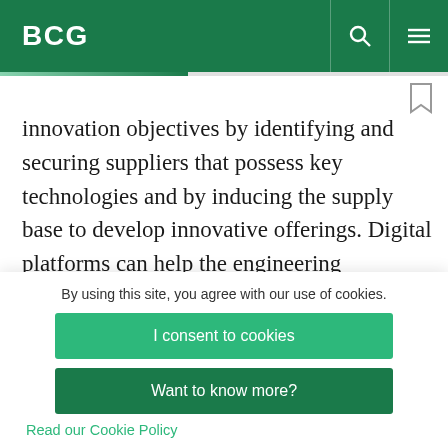BCG
innovation objectives by identifying and securing suppliers that possess key technologies and by inducing the supply base to develop innovative offerings. Digital platforms can help the engineering departments of the buying and
By using this site, you agree with our use of cookies.
I consent to cookies
Want to know more?
Read our Cookie Policy